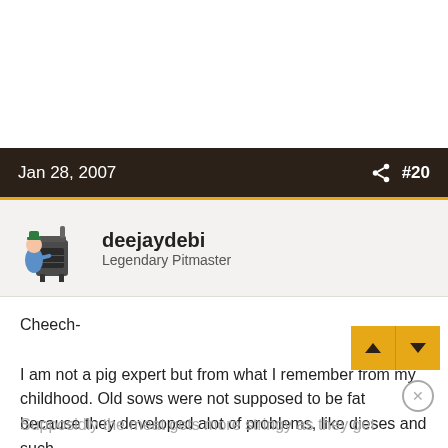Jan 28, 2007  #20
deejaydebi
Legendary Pitmaster
Cheech-

I am not a pig expert but from what I remember from my childhood. Old sows were not supposed to be fat because they developed alot of problems, like dieses and such.
Supposidly the meat gets more stringy as they get